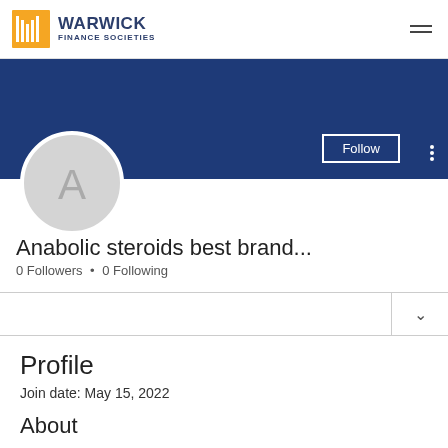WARWICK FINANCE SOCIETIES
[Figure (screenshot): Profile banner with dark navy blue background and Follow button with three-dot menu]
[Figure (illustration): Grey circular avatar with letter A]
Anabolic steroids best brand...
0 Followers • 0 Following
Profile
Join date: May 15, 2022
About